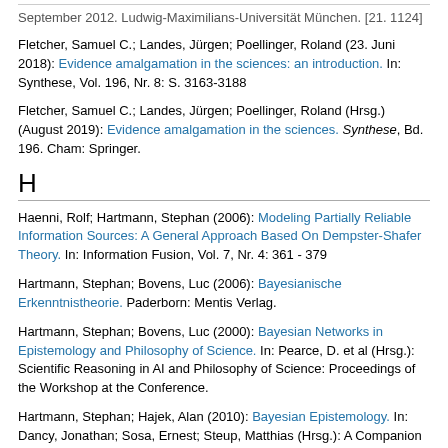September 2012. Ludwig-Maximilians-Universität München. [21. 1124]
Fletcher, Samuel C.; Landes, Jürgen; Poellinger, Roland (23. Juni 2018): Evidence amalgamation in the sciences: an introduction. In: Synthese, Vol. 196, Nr. 8: S. 3163-3188
Fletcher, Samuel C.; Landes, Jürgen; Poellinger, Roland (Hrsg.) (August 2019): Evidence amalgamation in the sciences. Synthese, Bd. 196. Cham: Springer.
H
Haenni, Rolf; Hartmann, Stephan (2006): Modeling Partially Reliable Information Sources: A General Approach Based On Dempster-Shafer Theory. In: Information Fusion, Vol. 7, Nr. 4: 361 - 379
Hartmann, Stephan; Bovens, Luc (2006): Bayesianische Erkenntnistheorie. Paderborn: Mentis Verlag.
Hartmann, Stephan; Bovens, Luc (2000): Bayesian Networks in Epistemology and Philosophy of Science. In: Pearce, D. et al (Hrsg.): Scientific Reasoning in AI and Philosophy of Science: Proceedings of the Workshop at the Conference.
Hartmann, Stephan; Hajek, Alan (2010): Bayesian Epistemology. In: Dancy, Jonathan; Sosa, Ernest; Steup, Matthias (Hrsg.): A Companion to Epistemology: Second Edition. Blackwell Companions to Philosophy, Wiley-Blackwell. S. 93-106